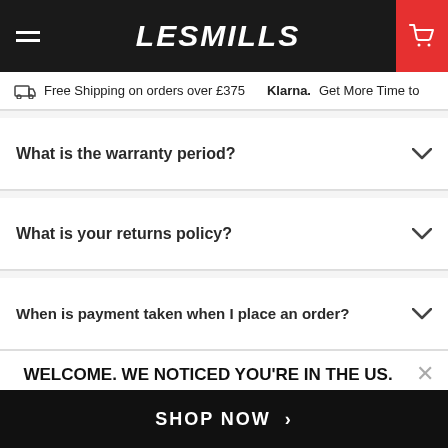LesMills
Free Shipping on orders over £375   Klarna.  Get More Time to
What is the warranty period?
What is your returns policy?
When is payment taken when I place an order?
WELCOME. WE NOTICED YOU'RE IN THE US.
Would you like to shop our US store?
SHOP NOW >